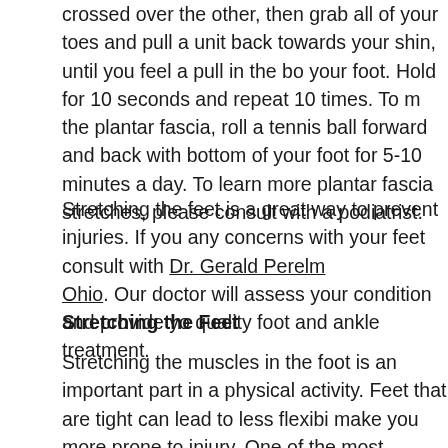crossed over the other, then grab all of your toes and pull a unit back towards your shin, until you feel a pull in the bottom of your foot. Hold for 10 seconds and repeat 10 times. To massage the plantar fascia, roll a tennis ball forward and back with the bottom of your foot for 5-10 minutes a day. To learn more plantar fascia stretches, please consult with a podiatrist.
Stretching the feet is a great way to prevent injuries. If you have any concerns with your feet consult with Dr. Gerald Perlman Ohio. Our doctor will assess your condition and provide quality foot and ankle treatment.
Stretching the Feet
Stretching the muscles in the foot is an important part in any physical activity. Feet that are tight can lead to less flexibility and make you more prone to injury. One of the most common causes of foot pain, plantar fasciitis, can be stretched out to help ease the pain. Stretching can not only ease pain from plantar fasciitis but also prevent it as well. However, it is important to see a podiatrist first if stretching is right for you. Podiatrists can also recommend other ways to stretch your feet. Once you know whether stretching is right for you, here are some excellent stretches you can do.